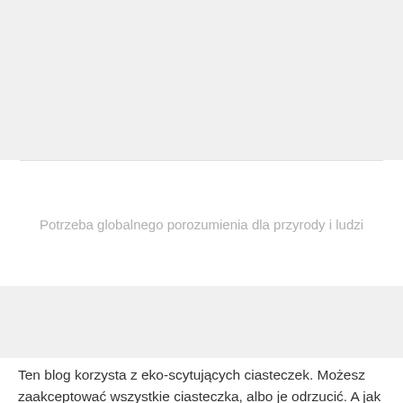[Figure (screenshot): Top gray placeholder area of a webpage]
Potrzeba globalnego porozumienia dla przyrody i ludzi
[Figure (screenshot): Bottom gray placeholder area of a webpage]
Ten blog korzysta z eko-scytujących ciasteczek. Możesz zaakceptować wszystkie ciasteczka, albo je odrzucić. A jak chcesz sobie wybrać smaki, to kliknij w ustawienia. Dla zainteresowanych jest także polityka prywatności bloga.
Akceptuję wszystko
Odrzucam wszystko
Ustawienia ciasteczek